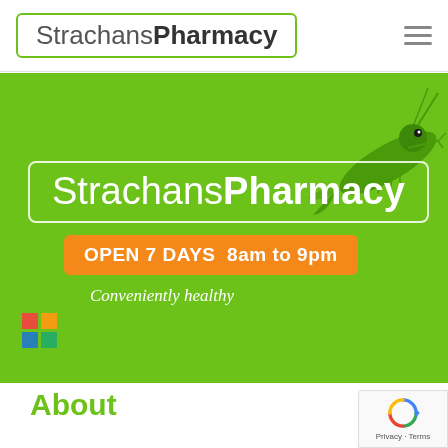StrachansPharmacy
[Figure (screenshot): Green hero banner with StrachansPharmacy logo, orange 'OPEN 7 DAYS 8am to 9pm' badge, italic tagline 'Conveniently healthy', decorative green plant/shrimp illustration, and colorful grid icon in bottom-left.]
About